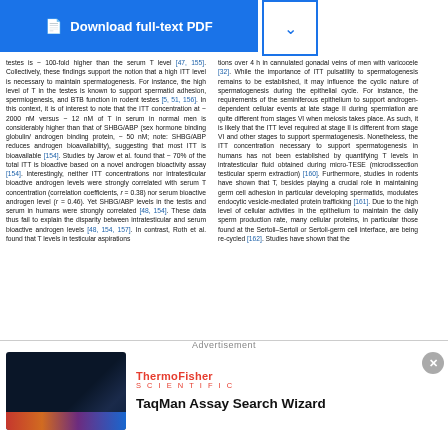[Figure (screenshot): Download full-text PDF button (blue) with dropdown arrow]
testes is ~100-fold higher than the serum T level [47, 155]. Collectively, these findings support the notion that a high ITT level is necessary to maintain spermatogenesis. For instance, the high level of T in the testes is known to support spermatid adhesion, spermiogenesis, and BTB function in rodent testes [5, 51, 156]. In this context, it is of interest to note that the ITT concentration at ~2000 nM versus ~12 nM of T in serum in normal men is considerably higher than that of SHBG/ABP (sex hormone binding globulin/androgen binding protein, ~50 nM; note: SHBG/ABP reduces androgen bioavailability), suggesting that most ITT is bioavailable [154]. Studies by Jarow et al. found that ~70% of the total ITT is bioactive based on a novel androgen bioactivity assay [154]. Interestingly, neither ITT concentrations nor intratesticular bioactive androgen levels were strongly correlated with serum T concentration (correlation coefficients, r = 0.38) nor serum bioactive androgen level (r = 0.46). Yet SHBG/ABP levels in the testis and serum in humans were strongly correlated [48, 154]. These data thus fail to explain the disparity between intratesticular and serum bioactive androgen levels [48, 154, 157]. In contrast, Roth et al. found that T levels in testicular aspirations
tions over 4 h in cannulated gonadal veins of men with varicocele [32]. While the importance of ITT pulsatility to spermatogenesis remains to be established, it may influence the cyclic nature of spermatogenesis during the epithelial cycle. For instance, the requirements of the seminiferous epithelium to support androgen-dependent cellular events at late stage II during spermiation are quite different from stages VI when meiosis takes place. As such, it is likely that the ITT level required at stage II is different from stage VI and other stages to support spermatogenesis. Nonetheless, the ITT concentration necessary to support spermatogenesis in humans has not been established by quantifying T levels in intratesticular fluid obtained during micro-TESE (microdissection testicular sperm extraction) [160]. Furthermore, studies in rodents have shown that T, besides playing a crucial role in maintaining germ cell adhesion in particular developing spermatids, modulates endocytic vesicle-mediated protein trafficking [161]. Due to the high level of cellular activities in the epithelium to maintain the daily sperm production rate, many cellular proteins, in particular those found at the Sertoli–Sertoli or Sertoli-germ cell interface, are being re-cycled [162]. Studies have shown that the
Advertisement
[Figure (screenshot): ThermoFisher Scientific TaqMan Assay Search Wizard advertisement with dark background image showing light streaks]